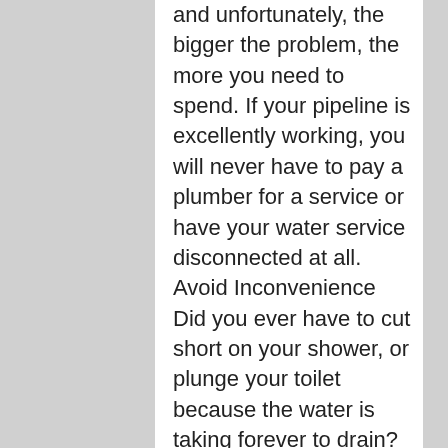and unfortunately, the bigger the problem, the more you need to spend. If your pipeline is excellently working, you will never have to pay a plumber for a service or have your water service disconnected at all. Avoid Inconvenience Did you ever have to cut short on your shower, or plunge your toilet because the water is taking forever to drain? What a bummer! I am sure you can imagine how disappointing it is to deal with such a nuisance. If you want to get away with this, spare no effort to watch what you put down your drain. Placing a drain guard in your sink and